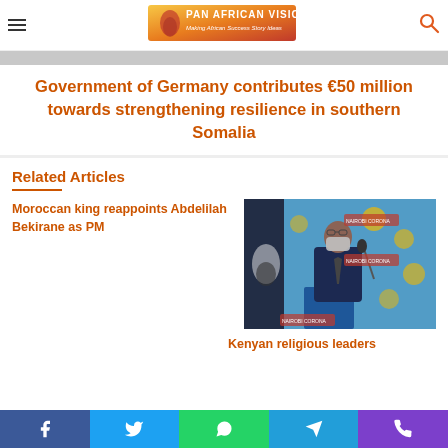Pan African Visions
Government of Germany contributes €50 million towards strengthening resilience in southern Somalia
Related Articles
Moroccan king reappoints Abdelilah Bekirane as PM
[Figure (photo): A man in a blue suit and face mask speaking at a podium with Kenyan Corona branding and a Kenyan flag in the background]
Kenyan religious leaders